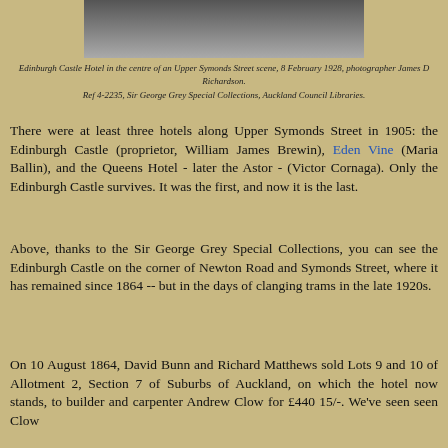[Figure (photo): Black and white photograph showing Upper Symonds Street scene with Edinburgh Castle Hotel, 8 February 1928]
Edinburgh Castle Hotel in the centre of an Upper Symonds Street scene, 8 February 1928, photographer James D Richardson.
Ref 4-2235, Sir George Grey Special Collections, Auckland Council Libraries.
There were at least three hotels along Upper Symonds Street in 1905: the Edinburgh Castle (proprietor, William James Brewin), Eden Vine (Maria Ballin), and the Queens Hotel - later the Astor - (Victor Cornaga). Only the Edinburgh Castle survives. It was the first, and now it is the last.
Above, thanks to the Sir George Grey Special Collections, you can see the Edinburgh Castle on the corner of Newton Road and Symonds Street, where it has remained since 1864 -- but in the days of clanging trams in the late 1920s.
On 10 August 1864, David Bunn and Richard Matthews sold Lots 9 and 10 of Allotment 2, Section 7 of Suburbs of Auckland, on which the hotel now stands, to builder and carpenter Andrew Clow for £440 15/-. We've seen seen Clow